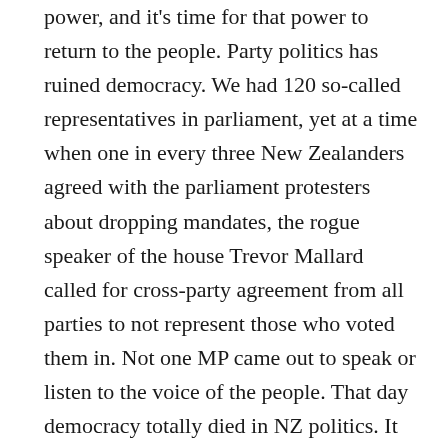power, and it's time for that power to return to the people. Party politics has ruined democracy. We had 120 so-called representatives in parliament, yet at a time when one in every three New Zealanders agreed with the parliament protesters about dropping mandates, the rogue speaker of the house Trevor Mallard called for cross-party agreement from all parties to not represent those who voted them in. Not one MP came out to speak or listen to the voice of the people. That day democracy totally died in NZ politics. It shows they operate by party politics over people's representation. Those 120 politicians committed democratic treason. This now justifies a different voting approach from New Zealanders at the up and coming 2023 elections. We cannot just settle and let this all slip by.